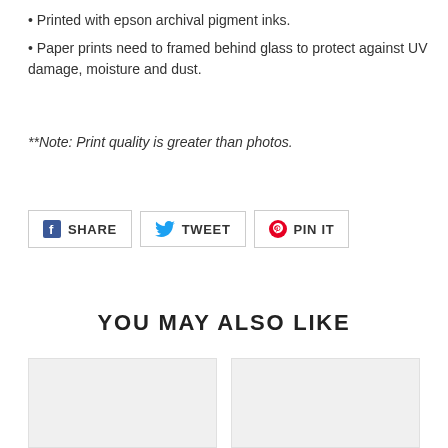• Printed with epson archival pigment inks.
• Paper prints need to framed behind glass to protect against UV damage, moisture and dust.
**Note: Print quality is greater than photos.
[Figure (other): Social sharing buttons: Facebook Share, Twitter Tweet, Pinterest Pin It]
YOU MAY ALSO LIKE
[Figure (other): Two product image placeholder cards side by side]